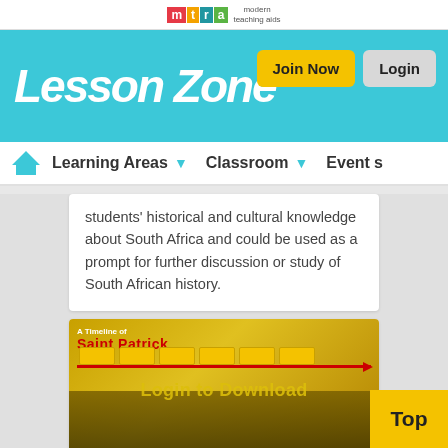[Figure (logo): MTA Modern Teaching Aids logo at top center]
[Figure (logo): LessonZone logo in teal banner with Join Now and Login buttons]
Learning Areas ▼   Classroom ▼   Events
students' historical and cultural knowledge about South Africa and could be used as a prompt for further discussion or study of South African history.
[Figure (screenshot): A Timeline of Saint Patrick educational resource thumbnail with Login to Download overlay]
A Timeline of Saint Patri...
LessonZone   About Us   Lesson Zone   Help